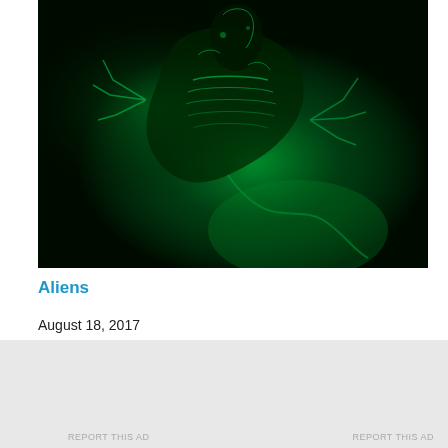[Figure (photo): Dark green-tinted image showing an alien creature with skeletal features and claws, from the movie Aliens. Night-vision or green filter visual style.]
Aliens
August 18, 2017
In "Horror"
Advertisements
[Figure (logo): P2 logo: black square icon with white grid symbol followed by bold text 'P2']
Getting your team on the same page is easy. And free.